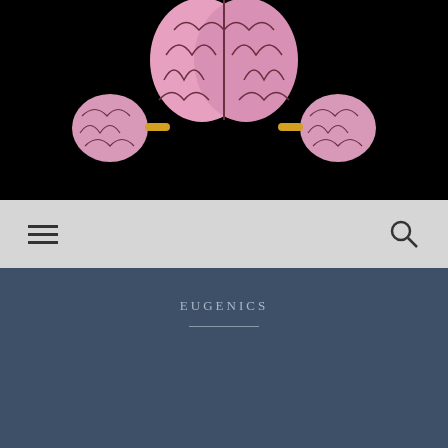[Figure (illustration): Podcast logo: stylized pink brain illustration with smaller brain appendages on the sides, on a black background]
[Figure (screenshot): Website navigation bar with hamburger menu icon on the left and search icon on the right, on a light gray background]
EUGENICS
Neurodivergence in the Neoliberal Era (transcript of ep. 8, S1 of Autism and The Human podcast)